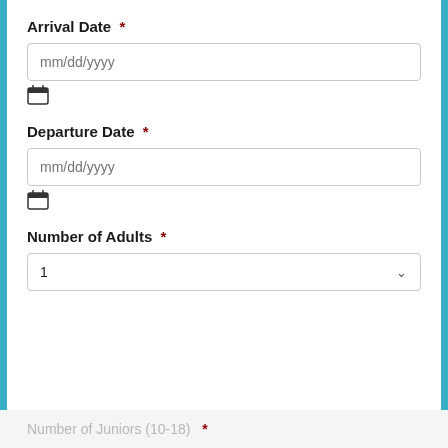Arrival Date *
mm/dd/yyyy
Departure Date *
mm/dd/yyyy
Number of Adults *
1
Number of Juniors (10-18) *